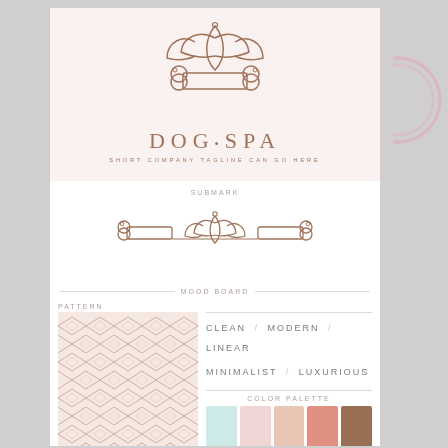[Figure (logo): Dog Spa logo: line art of a lotus flower above a dog bone, in rose-gold/copper outline style on light pink background]
DOG•SPA
SHORT COMPANY TAGLINE CAN GO HERE
SUBMARK
[Figure (logo): Dog Spa submark: horizontal dog bone with lotus flower centered, line art in copper/rose-gold]
MOOD BOARD
PATTERN
[Figure (illustration): Repeating geometric diamond/rhombus pattern in rose-gold on light pink background]
CLEAN / MODERN / LINEAR
MINIMALIST / LUXURIOUS
COLOR PALETTE
[Figure (infographic): Color palette swatches: light mint/ice blue, pale blush pink, peach/nude, salmon/coral, warm brown/caramel]
SWEET
[Figure (logo): Mini Dog Spa logo at bottom right on cream background]